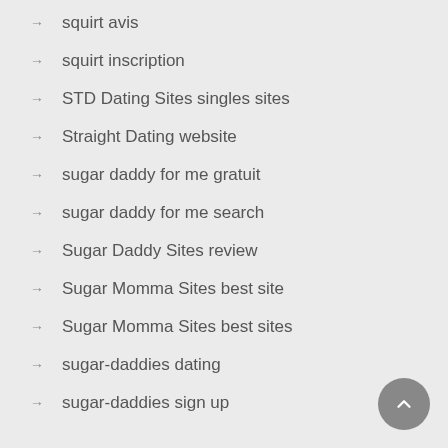squirt avis
squirt inscription
STD Dating Sites singles sites
Straight Dating website
sugar daddy for me gratuit
sugar daddy for me search
Sugar Daddy Sites review
Sugar Momma Sites best site
Sugar Momma Sites best sites
sugar-daddies dating
sugar-daddies sign up